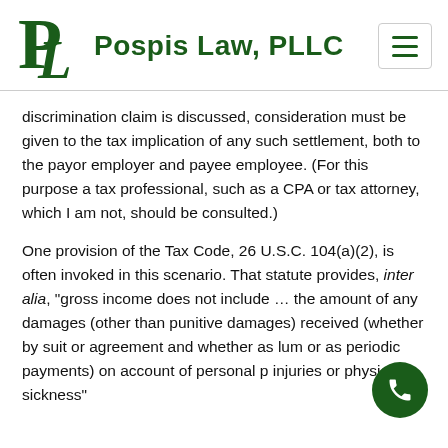[Figure (logo): Pospis Law PLLC logo with green PL monogram and firm name]
discrimination claim is discussed, consideration must be given to the tax implication of any such settlement, both to the payor employer and payee employee. (For this purpose a tax professional, such as a CPA or tax attorney, which I am not, should be consulted.)
One provision of the Tax Code, 26 U.S.C. 104(a)(2), is often invoked in this scenario. That statute provides, inter alia, "gross income does not include … the amount of any damages (other than punitive damages) received (whether by suit or agreement and whether as lum or as periodic payments) on account of personal p injuries or physical sickness"